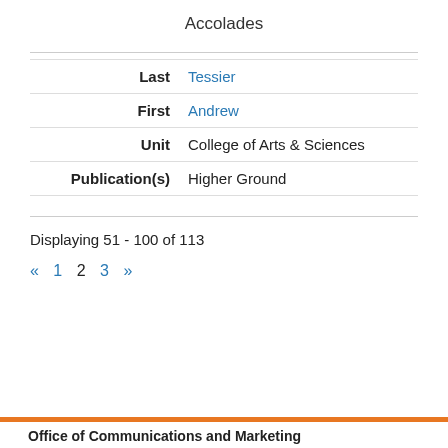Accolades
| Field | Value |
| --- | --- |
| Last | Tessier |
| First | Andrew |
| Unit | College of Arts & Sciences |
| Publication(s) | Higher Ground |
Displaying 51 - 100 of 113
« 1 2 3 »
Office of Communications and Marketing